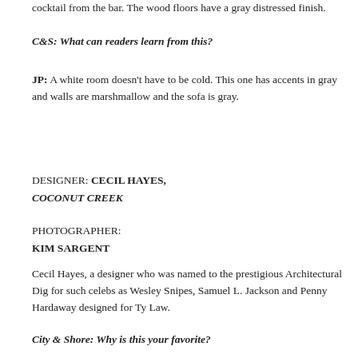cocktail from the bar. The wood floors have a gray distressed finish.
C&S: What can readers learn from this?
JP: A white room doesn't have to be cold. This one has accents in gray and walls are marshmallow and the sofa is gray.
DESIGNER: CECIL HAYES, COCONUT CREEK
PHOTOGRAPHER: KIM SARGENT
Cecil Hayes, a designer who was named to the prestigious Architectural Dig for such celebs as Wesley Snipes, Samuel L. Jackson and Penny Hardaway designed for Ty Law.
City & Shore: Why is this your favorite?